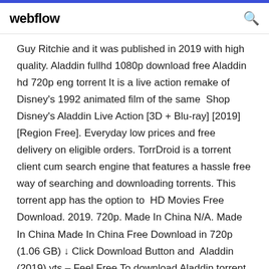webflow
Guy Ritchie and it was published in 2019 with high quality. Aladdin fullhd 1080p download free Aladdin hd 720p eng torrent It is a live action remake of Disney's 1992 animated film of the same  Shop Disney's Aladdin Live Action [3D + Blu-ray] [2019] [Region Free]. Everyday low prices and free delivery on eligible orders. TorrDroid is a torrent client cum search engine that features a hassle free way of searching and downloading torrents. This torrent app has the option to  HD Movies Free Download. 2019. 720p. Made In China N/A. Made In China Made In China Free Download in 720p (1.06 GB) ↓ Click Download Button and  Aladdin (2019) yts – Feel Free To download Aladdin torrent movie